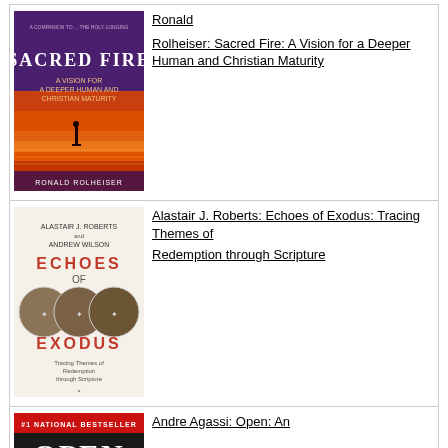[Figure (illustration): Book cover of Sacred Fire: A Vision for a Deeper Human and Christian Maturity by Ronald Rolheiser, purple and red/orange sunset background]
Ronald
Rolheiser: Sacred Fire: A Vision for a Deeper Human and Christian Maturity
[Figure (illustration): Book cover of Echoes of Exodus: Tracing Themes of Redemption through Scripture by Alastair J. Roberts and Andrew Wilson, featuring circular medallion images]
Alastair J. Roberts: Echoes of Exodus: Tracing Themes of
Redemption through Scripture
[Figure (illustration): Book cover of Open: An Autobiography by Andre Agassi, red banner at top, dark background]
Andre Agassi: Open: An